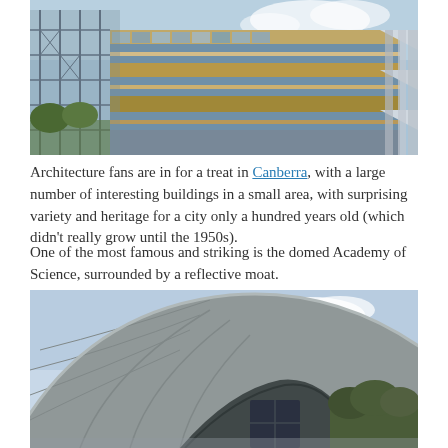[Figure (photo): A modern multi-storey glass and steel building with scaffolding on the left side, photographed from below at an angle]
Architecture fans are in for a treat in Canberra, with a large number of interesting buildings in a small area, with surprising variety and heritage for a city only a hundred years old (which didn't really grow until the 1950s).
One of the most famous and striking is the domed Academy of Science, surrounded by a reflective moat.
[Figure (photo): Close-up of the curved dome of the Academy of Science building in Canberra, showing its distinctive concrete shell structure with segmented panels, against a blue sky with clouds and trees in the background]